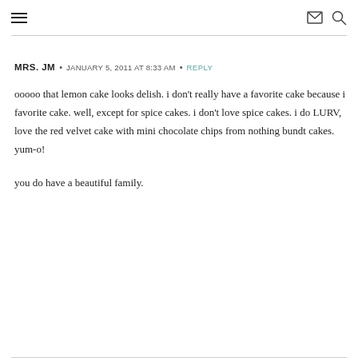≡  ✉ 🔍
MRS. JM  •  JANUARY 5, 2011 AT 8:33 AM  •  REPLY
ooooo that lemon cake looks delish. i don't really have a favorite cake because i favorite cake. well, except for spice cakes. i don't love spice cakes. i do LURV, love the red velvet cake with mini chocolate chips from nothing bundt cakes. yum-o!
you do have a beautiful family.